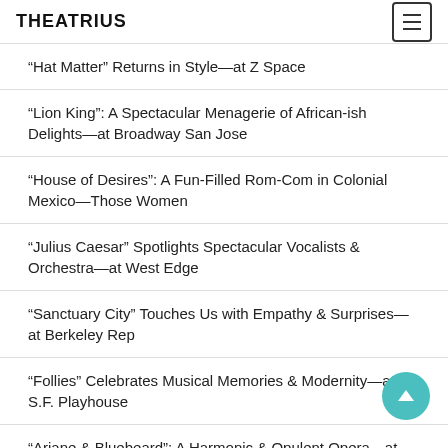THEATRIUS
“Hat Matter” Returns in Style—at Z Space
“Lion King”: A Spectacular Menagerie of African-ish Delights—at Broadway San Jose
“House of Desires”: A Fun-Filled Rom-Com in Colonial Mexico—Those Women
“Julius Caesar” Spotlights Spectacular Vocalists & Orchestra—at West Edge
“Sanctuary City” Touches Us with Empathy & Surprises—at Berkeley Rep
“Follies” Celebrates Musical Memories & Modernity—at S.F. Playhouse
“Ariane & Bluebeard”: A Harmonic & Opulent Opera—at West Edge